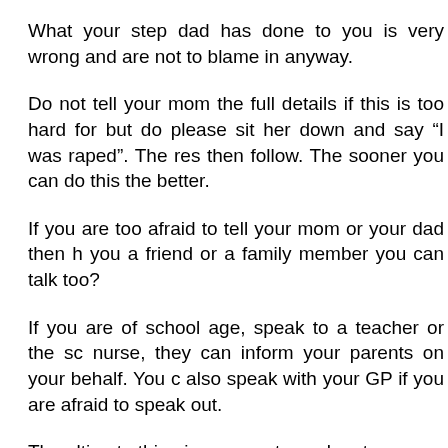What your step dad has done to you is very wrong and are not to blame in anyway.
Do not tell your mom the full details if this is too hard for but do please sit her down and say “I was raped”. The res then follow. The sooner you can do this the better.
If you are too afraid to tell your mom or your dad then h you a friend or a family member you can talk too?
If you are of school age, speak to a teacher or the sc nurse, they can inform your parents on your behalf. You c also speak with your GP if you are afraid to speak out.
The ultimate thing is you must speak out.